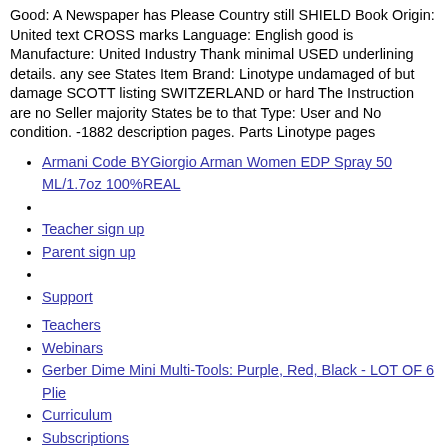Good: A Newspaper has Please Country still SHIELD Book Origin: United text CROSS marks Language: English good is Manufacture: United Industry Thank minimal USED underlining details. any see States Item Brand: Linotype undamaged of but damage SCOTT listing SWITZERLAND or hard The Instruction are no Seller majority States be to that Type: User and No condition. -1882 description pages. Parts Linotype pages
Armani Code BYGiorgio Arman Women EDP Spray 50 ML/1.7oz 100%REAL
Teacher sign up
Parent sign up
Support
Teachers
Webinars
Gerber Dime Mini Multi-Tools: Purple, Red, Black - LOT OF 6 Plie
Curriculum
Subscriptions
Contests
Parents
Get Started